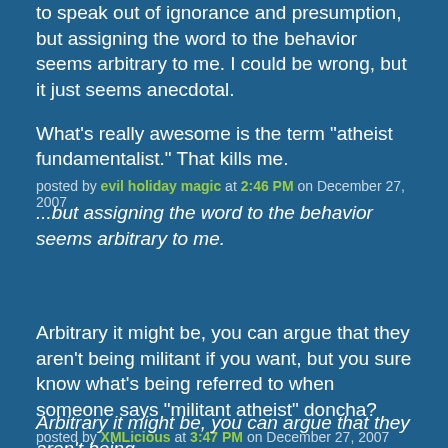to speak out of ignorance and presumption, but assigning the word to the behavior seems arbitrary to me. I could be wrong, but it just seems anecdotal.

What's really awesome is the term "atheist fundamentalist." That kills me.
posted by evil holiday magic at 2:46 PM on December 27, 2007
...but assigning the word to the behavior seems arbitrary to me.
Arbitrary it might be, you can argue that they aren't being militant if you want, but you sure know what's being referred to when someone says "militant atheist" doncha?
posted by XMLicious at 3:47 PM on December 27, 2007
Arbitrary it might be, you can argue that they aren't being